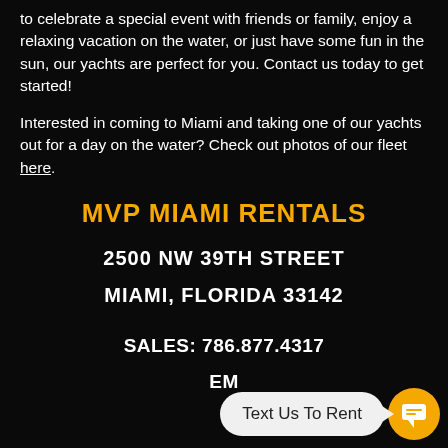to celebrate a special event with friends or family, enjoy a relaxing vacation on the water, or just have some fun in the sun, our yachts are perfect for you. Contact us today to get started!
Interested in coming to Miami and taking one of our yachts out for a day on the water? Check out photos of our fleet here.
MVP MIAMI RENTALS
2500 NW 39TH STREET
MIAMI, FLORIDA 33142
SALES: 786.877.4317
EM...
[Figure (infographic): SMS chat bubble overlay with orange circle SMS icon and text 'Text Us To Rent']